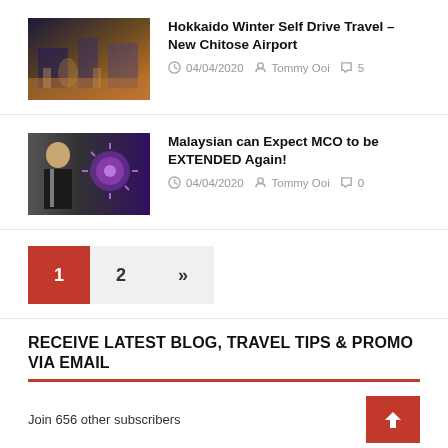[Figure (photo): Photo of airport interior with people and shops]
Hokkaido Winter Self Drive Travel – New Chitose Airport
04/04/2020  Tommy Ooi  5
[Figure (photo): Photo of a man in suit next to a coronavirus particle illustration]
Malaysian can Expect MCO to be EXTENDED Again!
04/04/2020  Tommy Ooi  0
1
2
»
RECEIVE LATEST BLOG, TRAVEL TIPS & PROMO VIA EMAIL
Join 656 other subscribers
Email Address